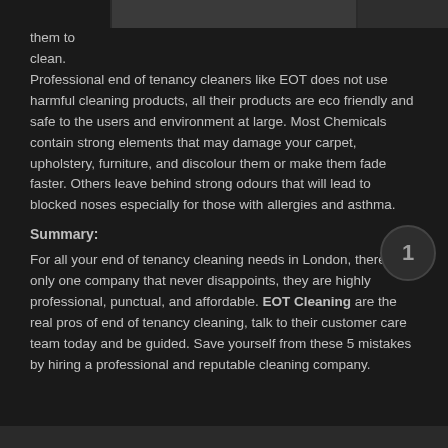[Figure (photo): Dark banner with partial images at the top of the page]
them to clean. Professional end of tenancy cleaners like EOT does not use harmful cleaning products, all their products are eco friendly and safe to the users and environment at large. Most Chemicals contain strong elements that may damage your carpet, upholstery, furniture, and discolour them or make them fade faster. Others leave behind strong odours that will lead to blocked noses especially for those with allergies and asthma.
Summary:
For all your end of tenancy cleaning needs in London, there's only one company that never disappoints, they are highly professional, punctual, and affordable. EOT Cleaning are the real pros of end of tenancy cleaning, talk to their customer care team today and be guided. Save yourself from these 5 mistakes by hiring a professional end reputable cleaning company.
[Figure (photo): Dark image strip at the bottom of the page]